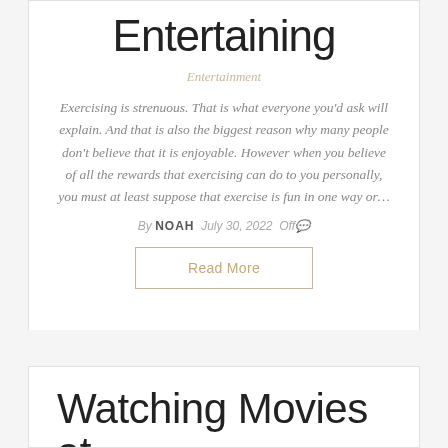Entertaining
Entertainment
Exercising is strenuous. That is what everyone you'd ask will explain. And that is also the biggest reason why many people don't believe that it is enjoyable. However when you believe of all the rewards that exercising can do to you personally, you must at least suppose that exercise is fun in one way or…
By NOAH  July 30, 2022  Off
Read More
Watching Movies at